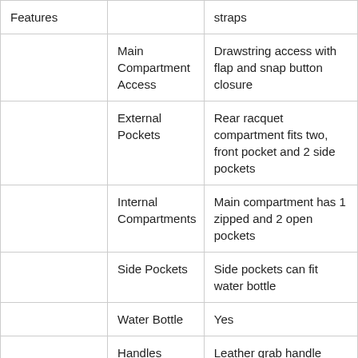|  |  |  |
| --- | --- | --- |
| Features |  | straps |
|  | Main Compartment Access | Drawstring access with flap and snap button closure |
|  | External Pockets | Rear racquet compartment fits two, front pocket and 2 side pockets |
|  | Internal Compartments | Main compartment has 1 zipped and 2 open pockets |
|  | Side Pockets | Side pockets can fit water bottle |
|  | Water Bottle | Yes |
|  | Handles | Leather grab handle |